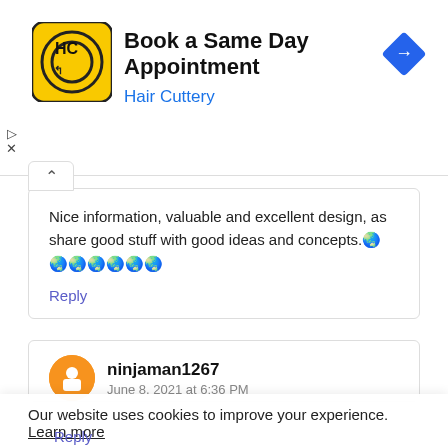[Figure (screenshot): Hair Cuttery ad banner with logo, 'Book a Same Day Appointment' title, 'Hair Cuttery' subtitle in blue, and a blue navigation diamond icon. Play and X controls on the left.]
Nice information, valuable and excellent design, as share good stuff with good ideas and concepts.🙏🙏🙏🙏🙏🙏🙏
Reply
ninjaman1267
June 8, 2021 at 6:36 PM
Our website uses cookies to improve your experience. Learn more
Accept !
Reply